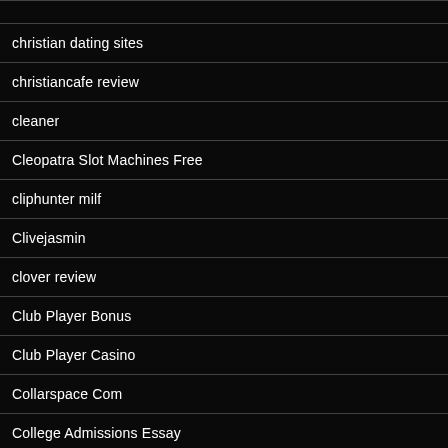christian dating sites
christiancafe review
cleaner
Cleopatra Slot Machines Free
cliphunter milf
Clivejasmin
clover review
Club Player Bonus
Club Player Casino
Collarspace Com
College Admissions Essay
College Cam